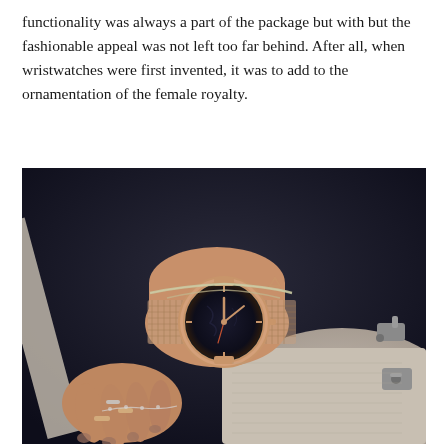functionality was always a part of the package but with but the fashionable appeal was not left too far behind. After all, when wristwatches were first invented, it was to add to the ornamentation of the female royalty.
[Figure (photo): Close-up photograph of a woman's wrist wearing a rose gold watch with a black marble dial and a mesh rose gold strap, along with delicate chain bracelets and rings on her fingers. She is resting her hand on a light beige structured handbag, wearing a dark navy/black outfit.]